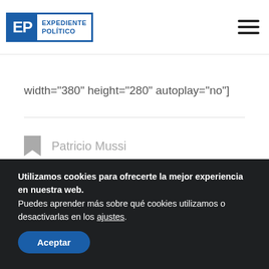Expediente Político
width="380" height="280" autoplay="no"]
Patricio Mussi
Utilizamos cookies para ofrecerte la mejor experiencia en nuestra web.
Puedes aprender más sobre qué cookies utilizamos o desactivarlas en los ajustes.
Aceptar